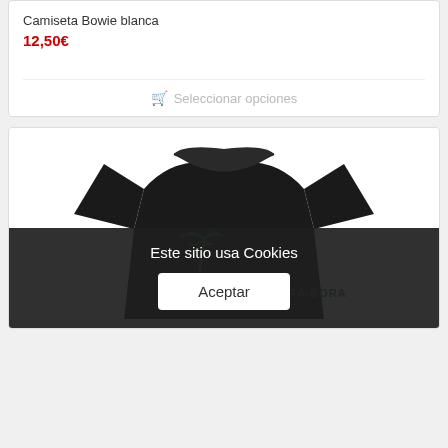Camiseta Bowie blanca
12,50€
Seleccionar opciones
[Figure (photo): Black t-shirt with green 'DISCOS BORA-BORA' logo and palm tree graphic printed on the front]
Este sitio usa Cookies
Aceptar